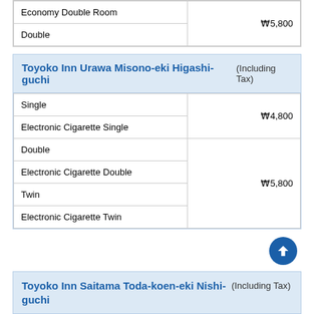| Room Type | Price |
| --- | --- |
| Economy Double Room |  |
| Double | ₩5,800 |
| Room Type | Price |
| --- | --- |
| Single |  |
| Electronic Cigarette Single | ₩4,800 |
| Double |  |
| Electronic Cigarette Double |  |
| Twin |  |
| Electronic Cigarette Twin | ₩5,800 |
| Room Type | Price |
| --- | --- |